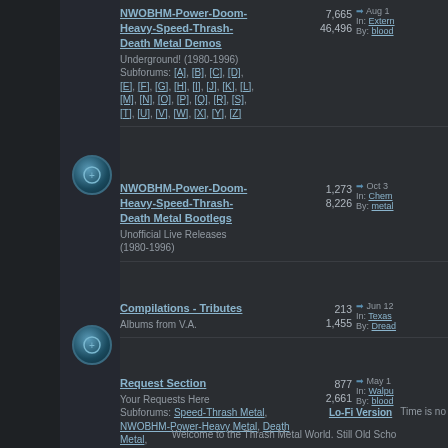NWOBHM-Power-Doom-Heavy-Speed-Thrash-Death Metal Demos
Underground! (1980-1996)
Subforums: [A], [B], [C], [D], [E], [F], [G], [H], [I], [J], [K], [L], [M], [N], [O], [P], [Q], [R], [S], [T], [U], [V], [W], [X], [Y], [Z]
Topics: 7,665 Posts: 46,496
Aug 18 In: Extern By: blood
NWOBHM-Power-Doom-Heavy-Speed-Thrash-Death Metal Bootlegs
Unofficial Live Releases (1980-1996)
Topics: 1,273 Posts: 8,226
Oct 31 In: Chem By: metal
Compilations - Tributes
Albums from V.A.
Topics: 213 Posts: 1,455
Jun 12 In: Texas By: Dread
Request Section
Your Requests Here
Subforums: Speed-Thrash Metal, NWOBHM-Power-Heavy Metal, Death Metal, Black Metal, Gothic-Doom Metal, Cover Art, Metal Videos
Topics: 877 Posts: 2,661
May 1 In: Walpu By: blood
Lo-Fi Version   Time is no
Welcome to the Thrash Metal World. Still Old Scho